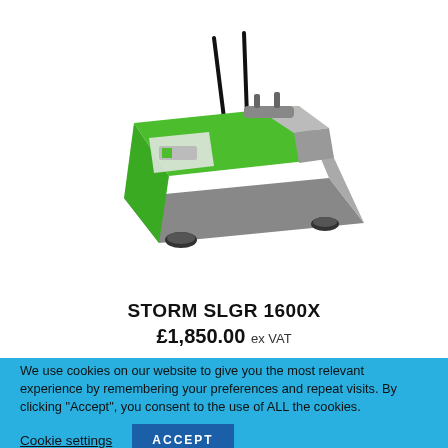[Figure (photo): Green and grey STORM SLGR 1600X floor cleaning / sweeping machine with black handles, photographed at an angle on white background]
STORM SLGR 1600X
£1,850.00 ex VAT
We use cookies on our website to give you the most relevant experience by remembering your preferences and repeat visits. By clicking "Accept", you consent to the use of ALL the cookies.
Cookie settings
ACCEPT